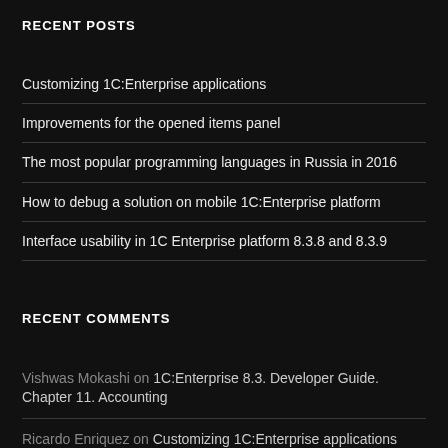RECENT POSTS
Customizing 1C:Enterprise applications
Improvements for the opened items panel
The most popular programming languages in Russia in 2016
How to debug a solution on mobile 1C:Enterprise platform
Interface usability in 1C Enterprise platform 8.3.8 and 8.3.9
RECENT COMMENTS
Vishwas Mokashi on 1C:Enterprise 8.3. Developer Guide. Chapter 11. Accounting
Ricardo Enriquez on Customizing 1C:Enterprise applications
AnnaEv on New 1C:Small Business 1.5.3 is available now!